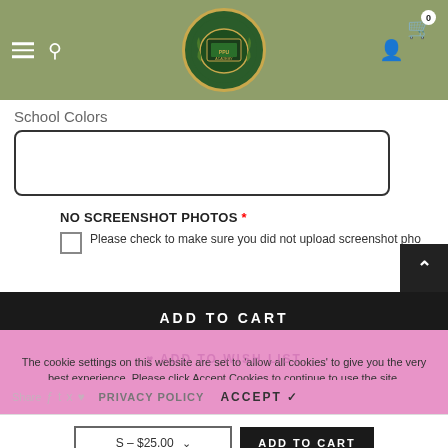[Figure (screenshot): Website header with olive/sage green background, hamburger menu, search icon, school crest logo (PPU Academy shield with laurel wreath), user icon, and cart icon with badge showing 0]
School Colors
[Figure (screenshot): Empty text input box with rounded corners and dark border for School Colors entry]
NO SCREENSHOT PHOTOS * Please check to make sure you did not upload screenshot pho
ADD TO CART
The cookie settings on this website are set to 'allow all cookies' to give you the very best experience. Please click Accept Cookies to continue to use the site.
ADD TO WISH LIST
Share
PRIVACY POLICY   ACCEPT ✓
S – $25.00   ADD TO CART